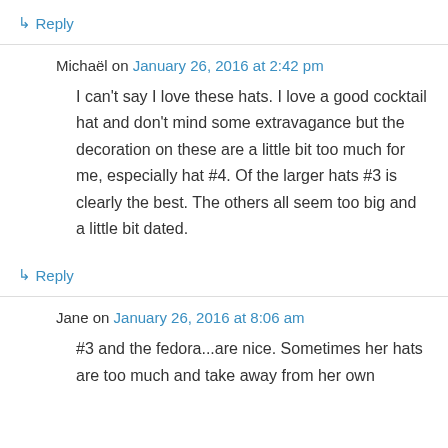↳ Reply
Michaël on January 26, 2016 at 2:42 pm
I can't say I love these hats. I love a good cocktail hat and don't mind some extravagance but the decoration on these are a little bit too much for me, especially hat #4. Of the larger hats #3 is clearly the best. The others all seem too big and a little bit dated.
↳ Reply
Jane on January 26, 2016 at 8:06 am
#3 and the fedora...are nice. Sometimes her hats are too much and take away from her own